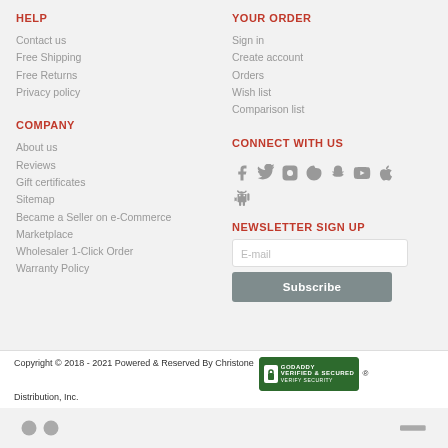HELP
Contact us
Free Shipping
Free Returns
Privacy policy
YOUR ORDER
Sign in
Create account
Orders
Wish list
Comparison list
COMPANY
About us
Reviews
Gift certificates
Sitemap
Became a Seller on e-Commerce Marketplace
Wholesaler 1-Click Order
Warranty Policy
CONNECT WITH US
[Figure (infographic): Social media icons: Facebook, Twitter, Instagram, Skype, Snapchat, YouTube, Apple, Android]
NEWSLETTER SIGN UP
E-mail
Subscribe
Copyright © 2018 - 2021 Powered & Reserved By Christone Distribution, Inc. [GoDaddy Verified & Secured badge] ®